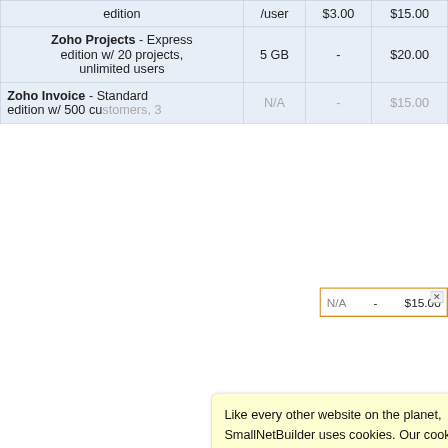| Product | Storage | Per User Price | Total |
| --- | --- | --- | --- |
| edition | /user | $3.00 | $15.00 |
| Zoho Projects - Express edition w/ 20 projects, unlimited users | 5 GB | - | $20.00 |
| Zoho Invoice - Standard edition w/ 500 customers, 3 | N/A | - | $15.00 |
This equa business a manageme manageme Another w not too ba costs from it's difficu one else p
$77.50 ductivity erson ve ment o omers. /year— licensing ved owever, ause no
Like every other website on the planet, SmallNetBuilder uses cookies. Our cookies track login status, but we only allow admins to log in anyway, so those don't apply to you. Any other cookies you pick up during your visit come from advertisers, which we don't control.
If you continue to use the site, you agree to tolerate our use of cookies. Thank you!